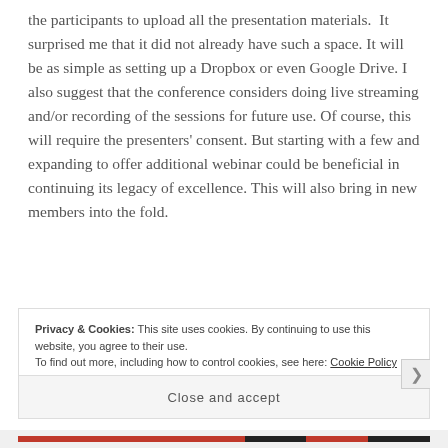the participants to upload all the presentation materials.  It surprised me that it did not already have such a space. It will be as simple as setting up a Dropbox or even Google Drive. I also suggest that the conference considers doing live streaming and/or recording of the sessions for future use. Of course, this will require the presenters' consent. But starting with a few and expanding to offer additional webinar could be beneficial in continuing its legacy of excellence. This will also bring in new members into the fold.
Privacy & Cookies: This site uses cookies. By continuing to use this website, you agree to their use. To find out more, including how to control cookies, see here: Cookie Policy
Close and accept